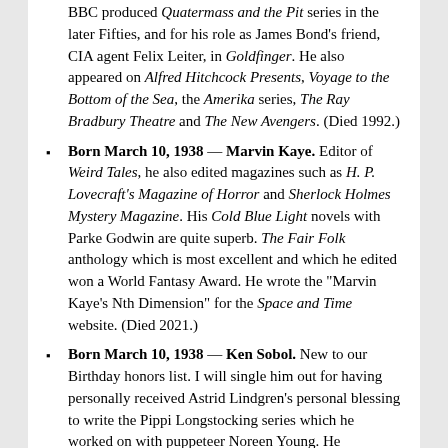BBC produced Quatermass and the Pit series in the later Fifties, and for his role as James Bond's friend, CIA agent Felix Leiter, in Goldfinger. He also appeared on Alfred Hitchcock Presents, Voyage to the Bottom of the Sea, the Amerika series, The Ray Bradbury Theatre and The New Avengers. (Died 1992.)
Born March 10, 1938 — Marvin Kaye. Editor of Weird Tales, he also edited magazines such as H. P. Lovecraft's Magazine of Horror and Sherlock Holmes Mystery Magazine. His Cold Blue Light novels with Parke Godwin are quite superb. The Fair Folk anthology which is most excellent and which he edited won a World Fantasy Award. He wrote the "Marvin Kaye's Nth Dimension" for the Space and Time website. (Died 2021.)
Born March 10, 1938 — Ken Sobol. New to our Birthday honors list. I will single him out for having personally received Astrid Lindgren's personal blessing to write the Pippi Longstocking series which he worked on with puppeteer Noreen Young. He